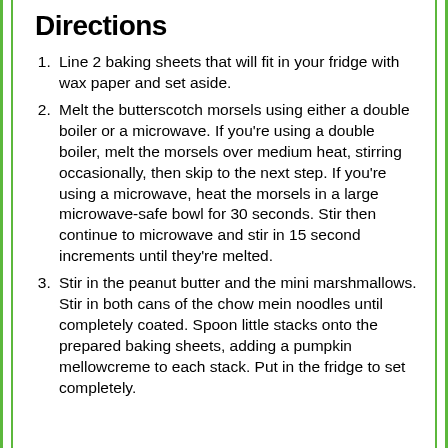Directions
Line 2 baking sheets that will fit in your fridge with wax paper and set aside.
Melt the butterscotch morsels using either a double boiler or a microwave. If you're using a double boiler, melt the morsels over medium heat, stirring occasionally, then skip to the next step. If you're using a microwave, heat the morsels in a large microwave-safe bowl for 30 seconds. Stir then continue to microwave and stir in 15 second increments until they're melted.
Stir in the peanut butter and the mini marshmallows. Stir in both cans of the chow mein noodles until completely coated. Spoon little stacks onto the prepared baking sheets, adding a pumpkin mellowcreme to each stack. Put in the fridge to set completely.